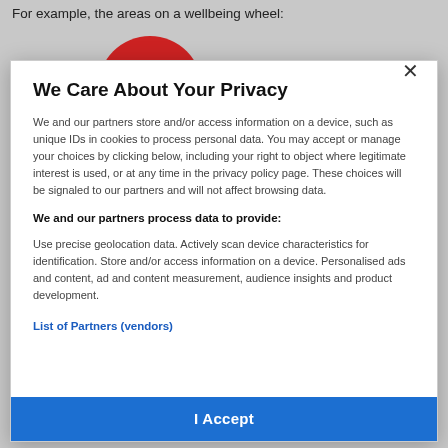For example, the areas on a wellbeing wheel:
[Figure (illustration): Partial red circle/pie chart visible at top of page behind modal overlay]
We Care About Your Privacy
We and our partners store and/or access information on a device, such as unique IDs in cookies to process personal data. You may accept or manage your choices by clicking below, including your right to object where legitimate interest is used, or at any time in the privacy policy page. These choices will be signaled to our partners and will not affect browsing data.
We and our partners process data to provide:
Use precise geolocation data. Actively scan device characteristics for identification. Store and/or access information on a device. Personalised ads and content, ad and content measurement, audience insights and product development.
List of Partners (vendors)
I Accept